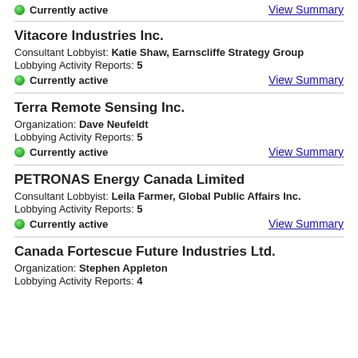Currently active | View Summary
Vitacore Industries Inc. | Consultant Lobbyist: Katie Shaw, Earnscliffe Strategy Group | Lobbying Activity Reports: 5 | Currently active | View Summary
Terra Remote Sensing Inc. | Organization: Dave Neufeldt | Lobbying Activity Reports: 5 | Currently active | View Summary
PETRONAS Energy Canada Limited | Consultant Lobbyist: Leila Farmer, Global Public Affairs Inc. | Lobbying Activity Reports: 5 | Currently active | View Summary
Canada Fortescue Future Industries Ltd. | Organization: Stephen Appleton | Lobbying Activity Reports: 4